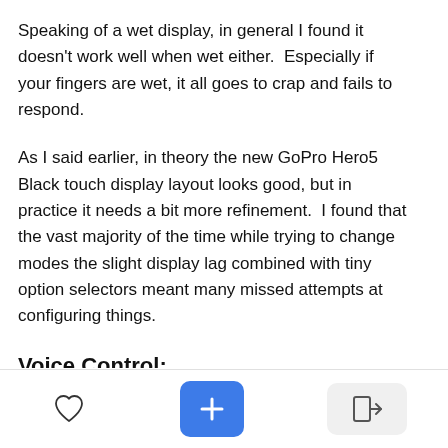Speaking of a wet display, in general I found it doesn't work well when wet either.  Especially if your fingers are wet, it all goes to crap and fails to respond.
As I said earlier, in theory the new GoPro Hero5 Black touch display layout looks good, but in practice it needs a bit more refinement.  I found that the vast majority of the time while trying to change modes the slight display lag combined with tiny option selectors meant many missed attempts at configuring things.
Voice Control: